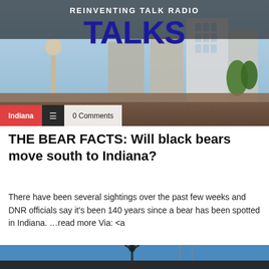[Figure (photo): Banner image showing Indianapolis cityscape with a 'REINVENTING TALK RADIO TALKS' overlay text logo. The image shows city buildings, a monument, and trees. Below the image are category/tag buttons: Indiana (red), hamburger menu (dark), and 0 Comments (white).]
THE BEAR FACTS: Will black bears move south to Indiana?
There have been several sightings over the past few weeks and DNR officials say it's been 140 years since a bear has been spotted in Indiana. …read more Via: <a
[Figure (photo): Partial bottom image showing a statue silhouette against a blue sky, cropped.]